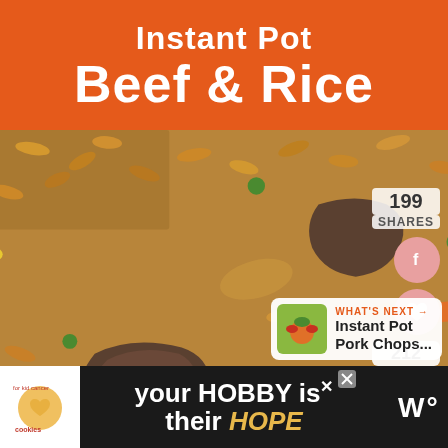Instant Pot Beef & Rice
[Figure (photo): Close-up photo of Instant Pot beef and rice dish with visible chunks of beef, carrots, peas, and corn mixed into brown rice]
199 SHARES
[Figure (infographic): Social sharing buttons: Facebook (f) button, heart/save button, share count 212, and share icon button, all in pink/coral circular buttons]
WHAT'S NEXT → Instant Pot Pork Chops...
[Figure (photo): Advertisement banner: cookies for kid cancer logo with heart cookie, text 'your HOBBY is their HOPE']